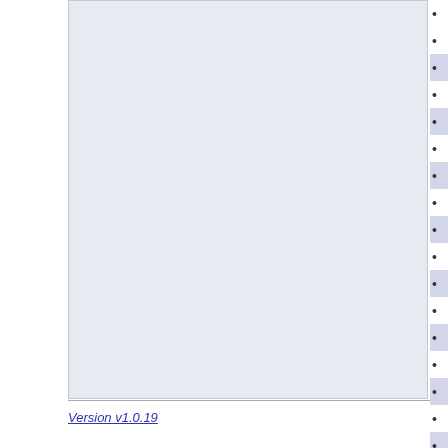VL Ordinary differential equations and dy...
UE Inverse problems
UE Markov chains
VL Markov chains
UE Mathematical logic 1
UE Optimization
VL Optimization
KV Practical in Logic and Software Design...
KV Programming project symbolic compu...
VL Rewriting in Computer Science and Lo...
VL Special Topics optimization
VL Special Topics symbolic computation
VL Special topcis probability theory and m...
VL Special topics Knowledge-based Math...
UE Stochastic processes
UE Probability theory and statistics
VL Probability theory and statistics
VL Knowledge and Data Based Modelling...
Version v1.0.19